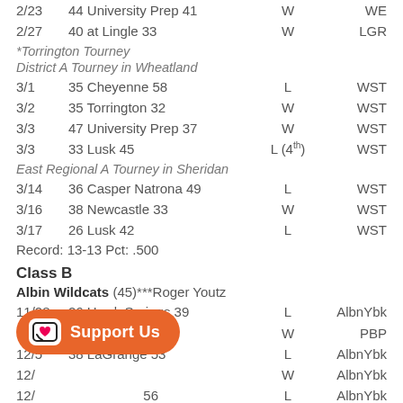2/23   44 University Prep 41   W   WE
2/27   40 at Lingle 33   W   LGR
*Torrington Tourney
District A Tourney in Wheatland
3/1   35 Cheyenne 58   L   WST
3/2   35 Torrington 32   W   WST
3/3   47 University Prep 37   W   WST
3/3   33 Lusk 45   L (4th)   WST
East Regional A Tourney in Sheridan
3/14   36 Casper Natrona 49   L   WST
3/16   38 Newcastle 33   W   WST
3/17   26 Lusk 42   L   WST
Record: 13-13  Pct: .500
Class B
Albin Wildcats (45)***Roger Youtz
11/28   26 Hawk Springs 39   L   AlbnYbk
12/1   44 Egbert 20   W   PBP
12/5   38 LaGrange 53   L   AlbnYbk
12/...   ...   W   AlbnYbk
12/...   ...56   L   AlbnYbk
12/15   22 Pine Bluffs 25   L   PBP